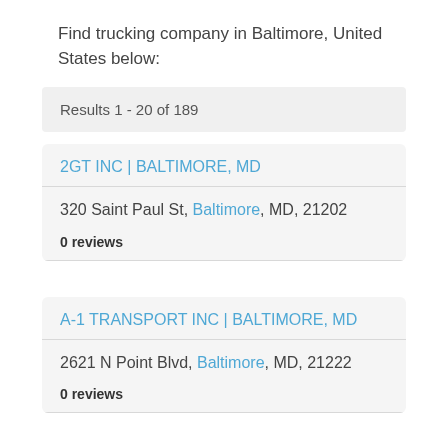Find trucking company in Baltimore, United States below:
Results 1 - 20 of 189
2GT INC | BALTIMORE, MD
320 Saint Paul St, Baltimore, MD, 21202
0 reviews
A-1 TRANSPORT INC | BALTIMORE, MD
2621 N Point Blvd, Baltimore, MD, 21222
0 reviews